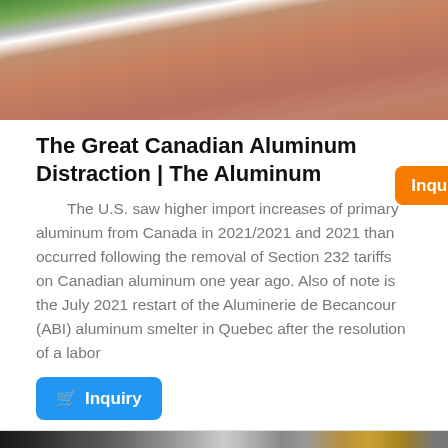[Figure (photo): Top portion of a photo showing aluminum/metal material, reddish-brown textured surface with a white curved object at top]
The Great Canadian Aluminum Distraction | The Aluminum
[Figure (other): Orange inquiry button]
The U.S. saw higher import increases of primary aluminum from Canada in 2021/2021 and 2021 than occurred following the removal of Section 232 tariffs on Canadian aluminum one year ago. Also of note is the July 2021 restart of the Aluminerie de Becancour (ABI) aluminum smelter in Quebec after the resolution of a labor
[Figure (other): Blue Inquiry button with shopping cart icon]
[Figure (photo): Black and white photo of an aluminum factory/smelter interior with industrial equipment and coils of aluminum]